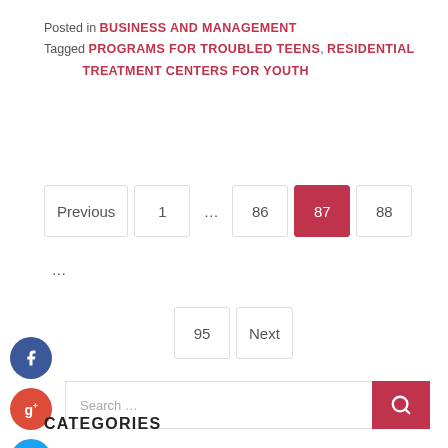Posted in BUSINESS AND MANAGEMENT
Tagged PROGRAMS FOR TROUBLED TEENS, RESIDENTIAL TREATMENT CENTERS FOR YOUTH
[Figure (infographic): Pagination navigation bar showing: Previous, 1, ..., 86, 87 (active/highlighted in red), 88, ..., 95, Next]
[Figure (infographic): Social media share buttons: Facebook (blue circle), Google+ (red circle), Twitter (cyan circle), Plus/AddThis (dark circle)]
[Figure (infographic): Search bar with text 'Search ...' and red search button with magnifying glass icon]
CATEGORIES